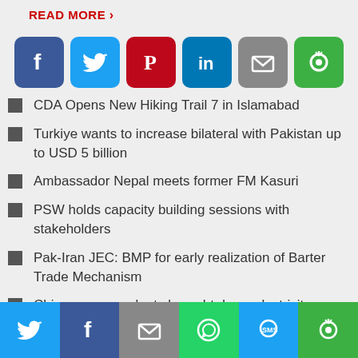READ MORE >
[Figure (infographic): Social share icons row: Facebook (blue), Twitter (light blue), Pinterest (red), LinkedIn (blue), Email (gray), Share (green)]
CDA Opens New Hiking Trail 7 in Islamabad
Turkiye wants to increase bilateral with Pakistan up to USD 5 billion
Ambassador Nepal meets former FM Kasuri
PSW holds capacity building sessions with stakeholders
Pak-Iran JEC: BMP for early realization of Barter Trade Mechanism
Chinese power plants brought down electricity prices
[Figure (infographic): Bottom share bar with Twitter, Facebook, Email, WhatsApp, SMS, and Share icons]